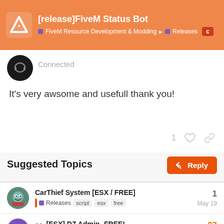[release]FiveM Status Bot — FiveM Resource Development & Modding › Releases
Connected
It's very awsome and usefull thank you!
Suggested Topics
CarThief System [ESX / FREE] — Releases — script, esx, free — 1 — May 19
•• [ESX] DZ Admin- FREE! — Releases — server, script, esx, free, client — 27 — Mar 24
[Standalone] In-Game Guidebo... — Releases — paid, script — 4/6